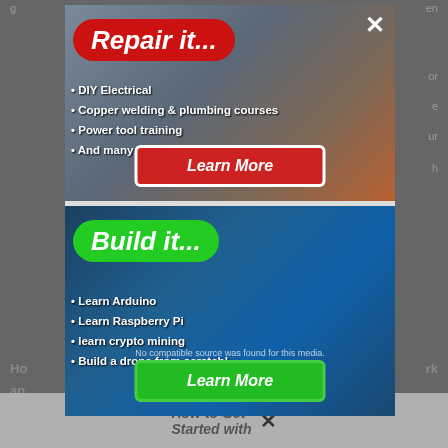[Figure (screenshot): A webpage with two advertising overlays/modals. Top modal shows 'Repair it...' in red bubble text over a background of electrical/wiring work, with bullet points: DIY Electrical, Copper welding & plumbing courses, Power tool training, And many more handyman guides! and a 'Learn More' button. Bottom modal shows 'Build it...' in green bubble text over an Arduino circuit board background, with bullet points: Learn Arduino, Learn Raspberry Pi, learn crypto mining, Build a drone from scratch! and a 'Learn More' button. A close (X) button is visible in the top-right. A dimmed webpage is visible behind the modals.]